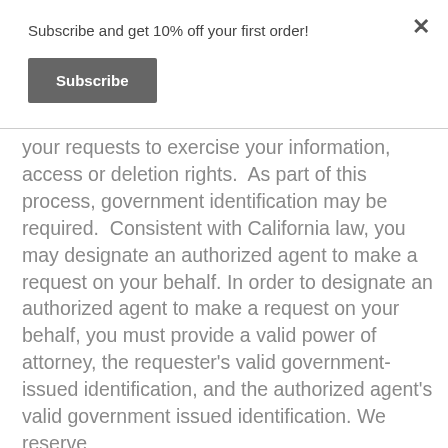Subscribe and get 10% off your first order!
Subscribe
your requests to exercise your information, access or deletion rights.  As part of this process, government identification may be required.  Consistent with California law, you may designate an authorized agent to make a request on your behalf. In order to designate an authorized agent to make a request on your behalf, you must provide a valid power of attorney, the requester's valid government-issued identification, and the authorized agent's valid government issued identification. We reserve...